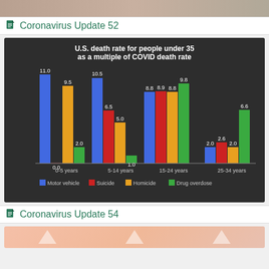[Figure (photo): Top image strip showing partial photo]
Coronavirus Update 52
[Figure (grouped-bar-chart): U.S. death rate for people under 35 as a multiple of COVID death rate]
Coronavirus Update 54
[Figure (photo): Bottom pink section with partial image]